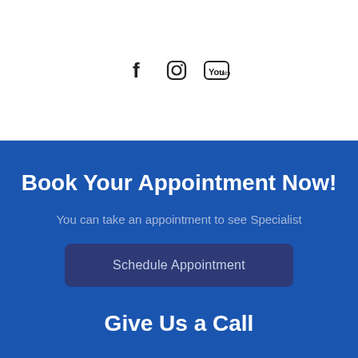[Figure (other): Social media icons: Facebook (f), Instagram (camera), YouTube (play button in box)]
Book Your Appointment Now!
You can take an appointment to see Specialist
Schedule Appointment
Give Us a Call